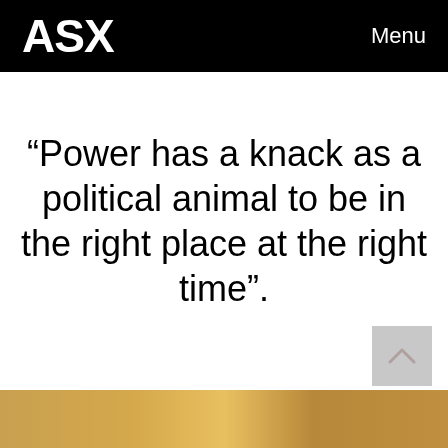ASX   Menu
“Power has a knack as a political animal to be in the right place at the right time”.
[Figure (photo): Partial view of a photograph at the bottom of the page showing a warm-toned outdoor scene.]